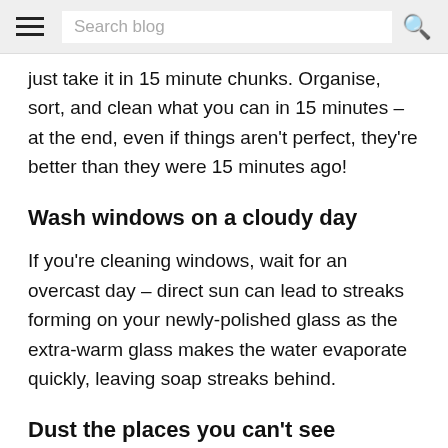Search blog
just take it in 15 minute chunks. Organise, sort, and clean what you can in 15 minutes – at the end, even if things aren't perfect, they're better than they were 15 minutes ago!
Wash windows on a cloudy day
If you're cleaning windows, wait for an overcast day – direct sun can lead to streaks forming on your newly-polished glass as the extra-warm glass makes the water evaporate quickly, leaving soap streaks behind.
Dust the places you can't see
Spring cleaning is all about sorting the areas that go